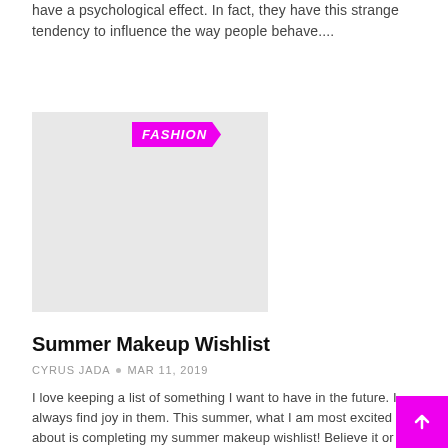have a psychological effect. In fact, they have this strange tendency to influence the way people behave....
[Figure (photo): Fashion category image placeholder with FASHION badge overlay]
Summer Makeup Wishlist
CYRUS JADA • MAR 11, 2019
I love keeping a list of something I want to have in the future. I always find joy in them. This summer, what I am most excited about is completing my summer makeup wishlist! Believe it or not, I am ready! I have come up with the best line...
[Figure (photo): Fashion category image placeholder with FASHION badge overlay]